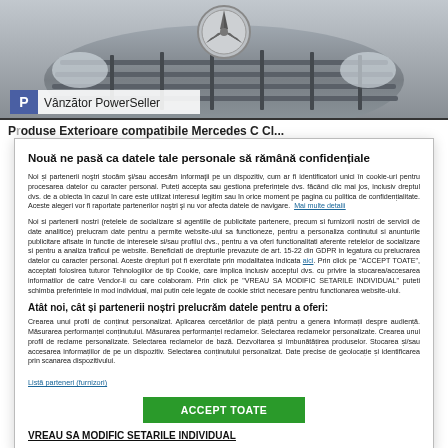[Figure (photo): Close-up photo of a Mercedes-Benz car front grille with the three-pointed star logo]
P  Vânzător PowerSeller
Produse Exterioare compatibile Mercedes C Cl...
Nouă ne pasă ca datele tale personale să rămână confidențiale
Noi și partenerii noştri stocăm şi/sau accesăm informaţii pe un dispozitiv, cum ar fi identificatori unici în cookie-uri pentru procesarea datelor cu caracter personal. Puteți accepta sau gestiona preferințele dvs. făcând clic mai jos, inclusiv dreptul dvs. de a obiecta în cazul în care este utilizat interesul legitim sau în orice moment pe pagina cu politica de confidențialitate. Aceste alegeri vor fi raportate partenerilor noştri şi nu vor afecta datele de navigare.  Mai multe detalii
Noi si partenerii nostri (retelele de socializare si agentiile de publicitate partenere, precum si furnizorii nostri de servicii de date analitice) prelucram date pentru a permite website-ului sa functioneze, pentru a personaliza continutul si anunturile publicitare afisate in functie de interesele si/sau profilul dvs., pentru a va oferi functionalitati aferente retelelor de socializare si pentru a analiza traficul pe website. Beneficiati de drepturile prevazute de art. 15-22 din GDPR in legatura cu prelucrarea datelor cu caracter personal. Aceste drepturi pot fi exercitate prin modalitatea indicata aici. Prin click pe "ACCEPT TOATE", acceptati folosirea tuturor Tehnologiilor de tip Cookie, care implica inclusiv acceptul dvs. cu privire la stocarea/accesarea informatilor de catre Vendor-ii cu care colaboram. Prin click pe "VREAU SA MODIFIC SETARILE INDIVIDUAL" puteti schimba preferintele in mod individual, mai putin cele legate de cookie strict necesare pentru functionarea website-ului.
Atât noi, cât și partenerii noștri prelucrăm datele pentru a oferi:
Crearea unui profil de conținut personalizat. Aplicarea cercetărilor de piață pentru a genera informații despre audiență. Măsurarea performanței conținutului. Măsurarea performanței reclamelor. Selectarea reclamelor personalizate. Crearea unui profil de reclame personalizate. Selectarea reclamelor de bază. Dezvoltarea și îmbunătățirea produselor. Stocarea și/sau accesarea informațiilor de pe un dispozitiv. Selectarea conținutului personalizat. Date precise de geolocație și identificarea prin scanarea dispozitivului.
Listă parteneri (furnizori)
ACCEPT TOATE
VREAU SA MODIFIC SETARILE INDIVIDUAL